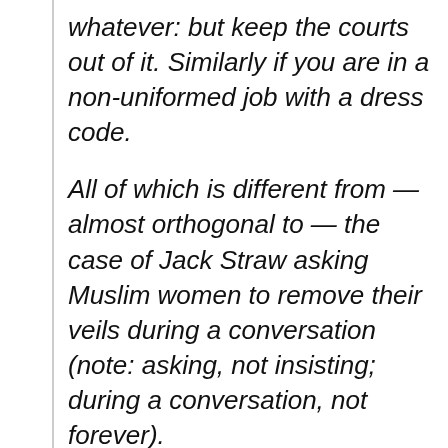whatever: but keep the courts out of it. Similarly if you are in a non-uniformed job with a dress code.
All of which is different from — almost orthogonal to — the case of Jack Straw asking Muslim women to remove their veils during a conversation (note: asking, not insisting; during a conversation, not forever).
I got the impression from the radio news this morning that the ArchieCant was trying to play the